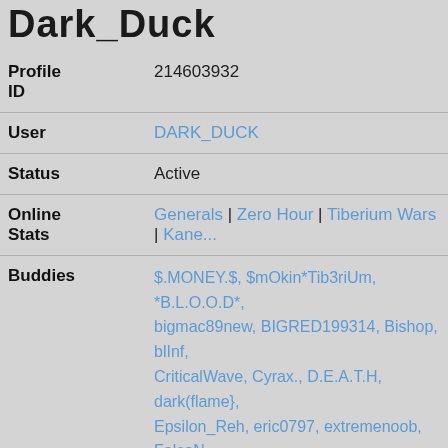Dark_Duck
| Field | Value |
| --- | --- |
| Profile ID | 214603932 |
| User | DARK_DUCK |
| Status | Active |
| Online Stats | Generals | Zero Hour | Tiberium Wars | Kane... |
| Buddies | $.MONEY.$, $mOkin*Tib3riUm, *B.L.O.O.D*, bigmac89new, BIGRED199314, Bishop, blInf, CriticalWave, Cyrax., D.E.A.T.H, dark(flame}, Epsilon_Reh, eric0797, extremenoob, FalcoN, Harry_Tipper, haus, hiyea, Hous80, Husqvar, Justyn-zD, K.I.7.L.4, Kevia, Killer_Instinct, Ku, masterleaf5, masterofflame, Metaph4r, MOM, Racer12, RAZPUTIN, Reaper676, reinerlando, Rubber DS, gamer1999, ... |